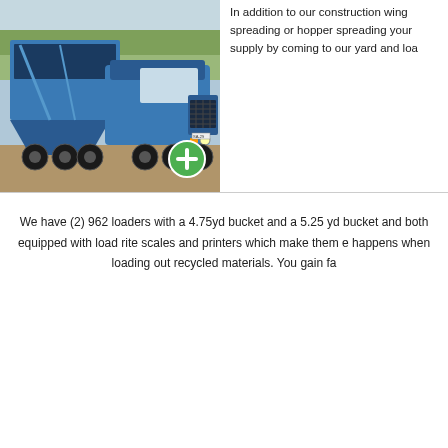[Figure (photo): Blue Western Star semi-truck hauling a blue hopper trailer, parked on a gravel/dirt lot with trees in background. A green circle with white plus sign is overlaid at the bottom right of the image.]
In addition to our construction wing spreading or hopper spreading your supply by coming to our yard and loa
We have (2) 962 loaders with a 4.75yd bucket and a 5.25 yd bucket and both equipped with load rite scales and printers which make them e happens when loading out recycled materials. You gain fa